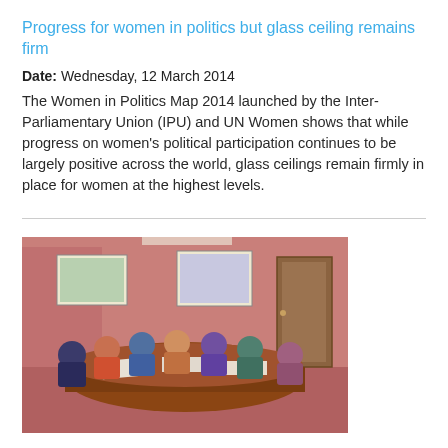Progress for women in politics but glass ceiling remains firm
Date: Wednesday, 12 March 2014
The Women in Politics Map 2014 launched by the Inter-Parliamentary Union (IPU) and UN Women shows that while progress on women's political participation continues to be largely positive across the world, glass ceilings remain firmly in place for women at the highest levels.
[Figure (photo): A group of people seated around a conference table in a meeting room setting]
Women shareholders in Jamaica board rooms are ready to achieve their fair share
Date: Friday, 7 September 2012
In a world where business is still dominated by men, a new coalition in Jamaica is working to open up boardrooms to women and work together to find their leadership potential.